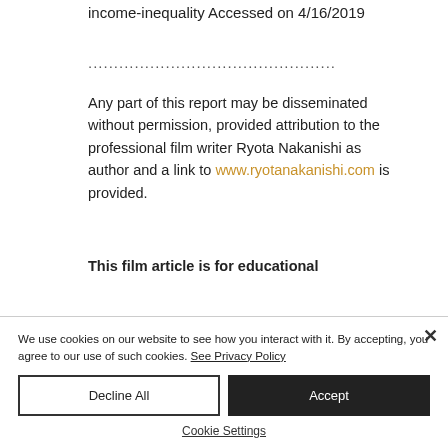income-inequality Accessed on 4/16/2019
................................................
Any part of this report may be disseminated without permission, provided attribution to the professional film writer Ryota Nakanishi as author and a link to www.ryotanakanishi.com is provided.
This film article is for educational
We use cookies on our website to see how you interact with it. By accepting, you agree to our use of such cookies. See Privacy Policy
Decline All
Accept
Cookie Settings